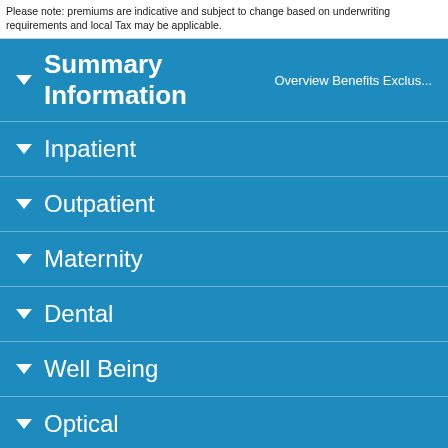Please note: premiums are indicative and subject to change based on underwriting requirements and local Tax may be applicable.
▼ Summary Information  Overview Benefits Exclus...
▼ Inpatient
▼ Outpatient
▼ Maternity
▼ Dental
▼ Well Being
▼ Optical
▼ Chronic
▼ Claims
▼ Others